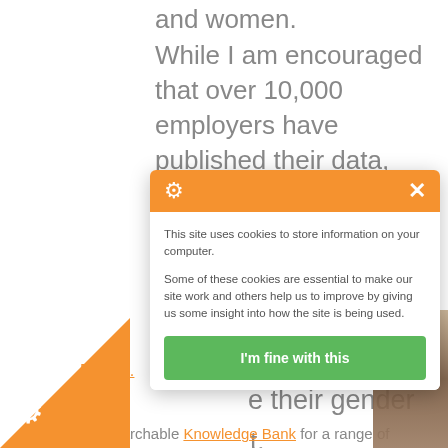and women.
While I am encouraged that over 10,000 employers have published their data, these figures set out in real terms for the first time some of the challenges and the scale of this issue.
...nsure ...can make use ...e their gender ...t.
Dow[nload]
[Figure (screenshot): Cookie consent popup with orange header containing gear icon and X close button, body text about cookies, and green 'I'm fine with this' button]
our searchable Knowledge Bank for a range of